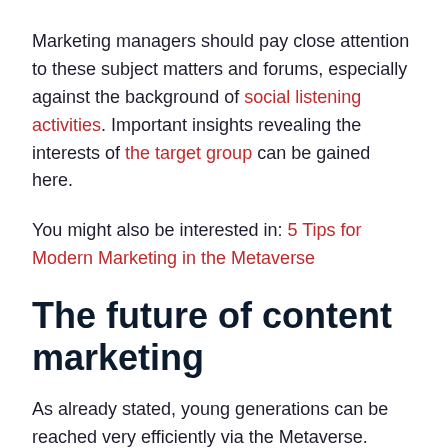Marketing managers should pay close attention to these subject matters and forums, especially against the background of social listening activities. Important insights revealing the interests of the target group can be gained here.
You might also be interested in: 5 Tips for Modern Marketing in the Metaverse
The future of content marketing
As already stated, young generations can be reached very efficiently via the Metaverse.